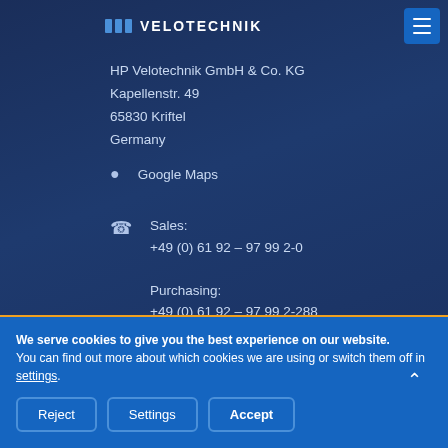VELOTECHNIK
HP Velotechnik GmbH & Co. KG
Kapellenstr. 49
65830 Kriftel
Germany
Google Maps
Sales:
+49 (0) 61 92 – 97 99 2-0

Purchasing:
+49 (0) 61 92 – 97 99 2-288

Press and media:
We serve cookies to give you the best experience on our website.
You can find out more about which cookies we are using or switch them off in settings.
Reject
Settings
Accept